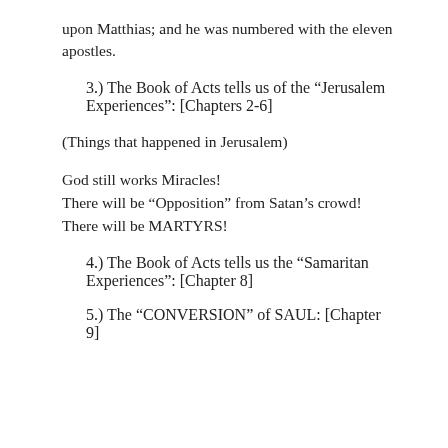upon Matthias; and he was numbered with the eleven apostles.
3.) The Book of Acts tells us of the “Jerusalem Experiences”: [Chapters 2-6]
(Things that happened in Jerusalem)
God still works Miracles!
There will be “Opposition” from Satan’s crowd!
There will be MARTYRS!
4.) The Book of Acts tells us the “Samaritan Experiences”: [Chapter 8]
5.) The “CONVERSION” of SAUL: [Chapter 9]